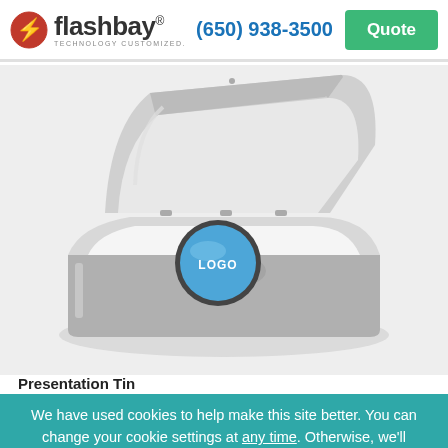flashbay® TECHNOLOGY CUSTOMIZED. (650) 938-3500 Quote
[Figure (photo): An open rectangular silver presentation tin containing a circular USB drive with a blue top printed with the word LOGO, resting on a white foam insert inside the tin.]
Presentation Tin
We have used cookies to help make this site better. You can change your cookie settings at any time. Otherwise, we'll assume you're happy to continue.